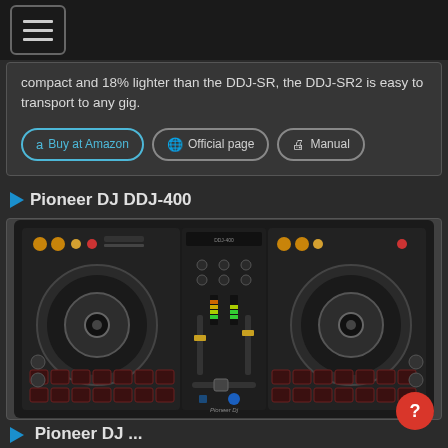Navigation menu
compact and 18% lighter than the DDJ-SR, the DDJ-SR2 is easy to transport to any gig.
Buy at Amazon
Official page
Manual
Pioneer DJ DDJ-400
[Figure (photo): Pioneer DJ DDJ-400 DJ controller, black, showing two jog wheels, performance pads, mixer section in center, various knobs and buttons]
Pioneer DJ ...